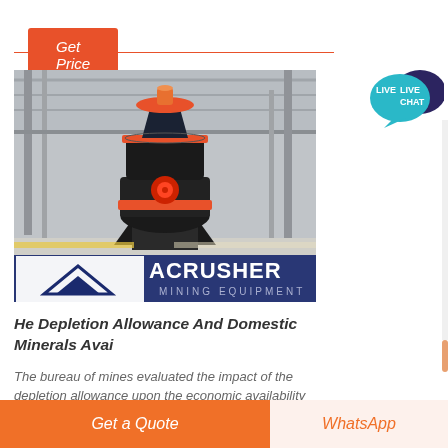Get Price
[Figure (photo): Industrial mining crusher machine (cone crusher) inside a large warehouse facility, with ACRUSHER MINING EQUIPMENT logo overlay at the bottom]
He Depletion Allowance And Domestic Minerals Avai
The bureau of mines evaluated the impact of the depletion allowance upon the economic availability of copper from domestic deposits the